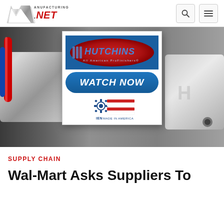Manufacturing.NET
[Figure (photo): Hero banner showing chrome manufacturing tools/parts in the background, with an overlaid advertisement card for Hutchins All American ProFinishers featuring a 'Watch Now' button and a 'Made in America' seal.]
SUPPLY CHAIN
Wal-Mart Asks Suppliers To